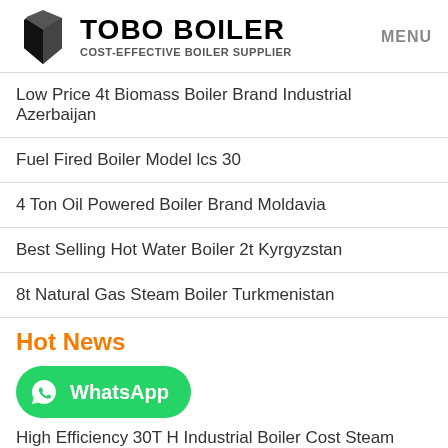TOBO BOILER COST-EFFECTIVE BOILER SUPPLIER | MENU
Low Price 4t Biomass Boiler Brand Industrial Azerbaijan
Fuel Fired Boiler Model lcs 30
4 Ton Oil Powered Boiler Brand Moldavia
Best Selling Hot Water Boiler 2t Kyrgyzstan
8t Natural Gas Steam Boiler Turkmenistan
Hot News
[Figure (other): WhatsApp contact button with green background and WhatsApp logo icon]
High Efficiency 30T H Industrial Boiler Cost Steam